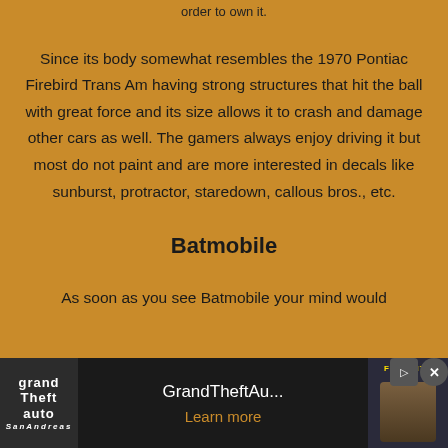order to own it.
Since its body somewhat resembles the 1970 Pontiac Firebird Trans Am having strong structures that hit the ball with great force and its size allows it to crash and damage other cars as well. The gamers always enjoy driving it but most do not paint and are more interested in decals like sunburst, protractor, staredown, callous bros., etc.
Batmobile
As soon as you see Batmobile your mind would
[Figure (other): Advertisement banner for Grand Theft Auto San Andreas and Fortnite games with 'Learn more' call-to-action]